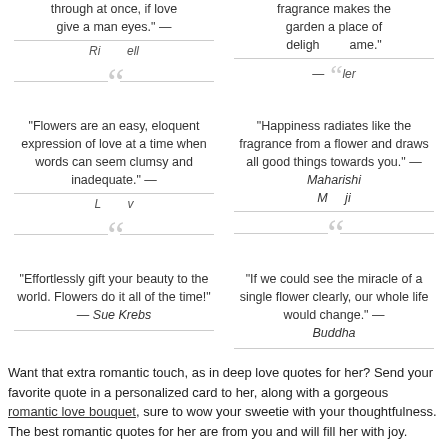through at once, if love give a man eyes." — Ri...ell (truncated/partially visible)
fragrance makes the garden a place of deligh...ame." — ...ler (partially visible)
"Flowers are an easy, eloquent expression of love at a time when words can seem clumsy and inadequate." — L...v...
"Happiness radiates like the fragrance from a flower and draws all good things towards you." — Maharishi M...ji
"Effortlessly gift your beauty to the world. Flowers do it all of the time!" — Sue Krebs
"If we could see the miracle of a single flower clearly, our whole life would change." — Buddha
Want that extra romantic touch, as in deep love quotes for her? Send your favorite quote in a personalized card to her, along with a gorgeous romantic love bouquet, sure to wow your sweetie with your thoughtfulness. The best romantic quotes for her are from you and will fill her with joy.